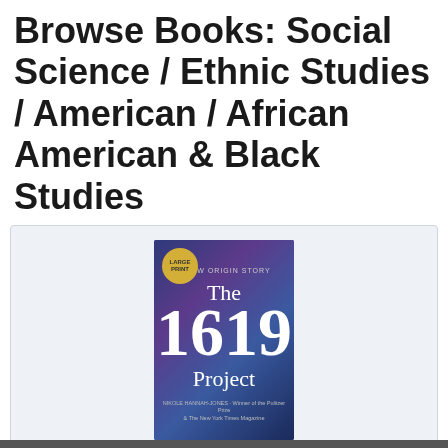Browse Books: Social Science / Ethnic Studies / American / African American & Black Studies
[Figure (illustration): Book cover of The 1619 Project: A New Origin Story — dark blue/purple background with the large text '1619' and a gold badge]
The 1619 Project: A New Origin Story (Large Print / Paperback)
By Nikole Hannah-Jones (Created by), The New York Times Magazine (Created by), Caitlin Roper (Editor), Ilena Silverman (Editor), Jake Silverstein (Editor)
$40.00